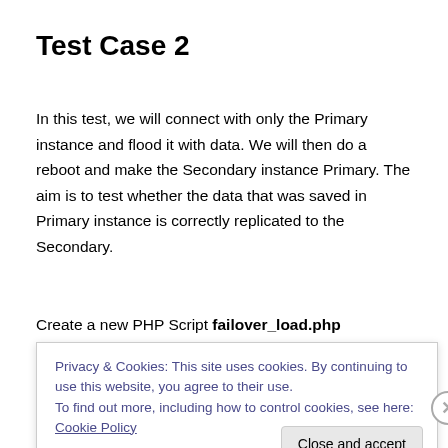Test Case 2
In this test, we will connect with only the Primary instance and flood it with data. We will then do a reboot and make the Secondary instance Primary. The aim is to test whether the data that was saved in Primary instance is correctly replicated to the Secondary.
Create a new PHP Script failover_load.php
Privacy & Cookies: This site uses cookies. By continuing to use this website, you agree to their use.
To find out more, including how to control cookies, see here: Cookie Policy